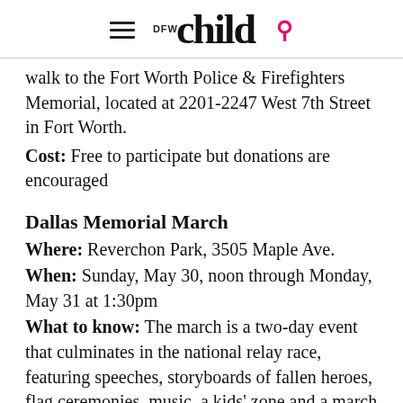DFW child
walk to the Fort Worth Police & Firefighters Memorial, located at 2201-2247 West 7th Street in Fort Worth.
Cost: Free to participate but donations are encouraged
Dallas Memorial March
Where: Reverchon Park, 3505 Maple Ave.
When: Sunday, May 30, noon through Monday, May 31 at 1:30pm
What to know: The march is a two-day event that culminates in the national relay race, featuring speeches, storyboards of fallen heroes, flag ceremonies, music, a kids' zone and a march along